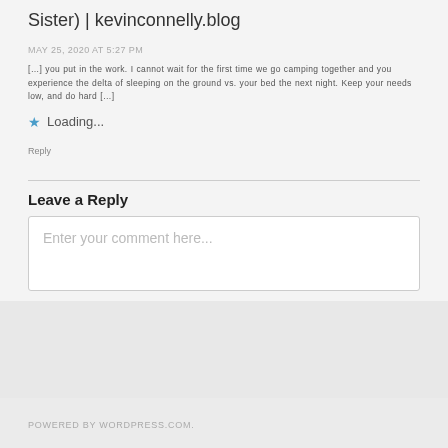Sister) | kevinconnelly.blog
MAY 25, 2020 AT 5:27 PM
[…] you put in the work. I cannot wait for the first time we go camping together and you experience the delta of sleeping on the ground vs. your bed the next night. Keep your needs low, and do hard […]
★ Loading...
Reply
Leave a Reply
Enter your comment here...
POWERED BY WORDPRESS.COM.